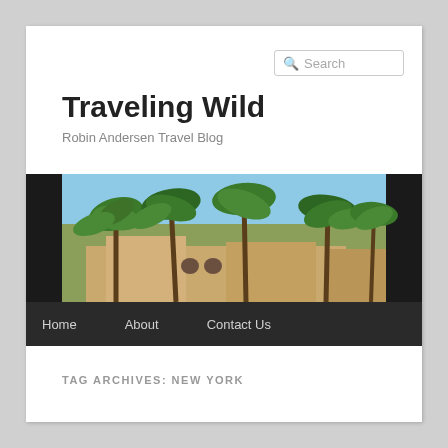Search
Traveling Wild
Robin Andersen Travel Blog
[Figure (photo): Outdoor scene with palm trees and sandy/mud brick buildings under a blue sky, resembling a desert oasis or Middle Eastern/North African village]
Home   About   Contact Us
TAG ARCHIVES: NEW YORK